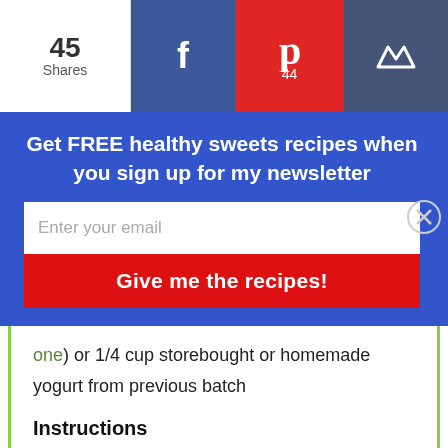45 Shares
[Figure (screenshot): Social sharing bar with Facebook, Pinterest (44), and Crown buttons]
Get FREE healthy sweets recipes when you sign up for my newsletter
Enter your email
Give me the recipes!
one) or 1/4 cup storebought or homemade yogurt from previous batch
Instructions
First you need to sterilize your Instant Pot. Add 1-2 cups of water to your Instant Pot. Turn the steam release handle to sealed, hit the steam button and set the time for 1 minute.